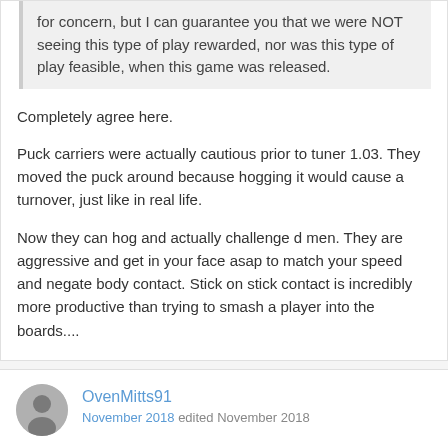for concern, but I can guarantee you that we were NOT seeing this type of play rewarded, nor was this type of play feasible, when this game was released.
Completely agree here.

Puck carriers were actually cautious prior to tuner 1.03. They moved the puck around because hogging it would cause a turnover, just like in real life.

Now they can hog and actually challenge d men. They are aggressive and get in your face asap to match your speed and negate body contact. Stick on stick contact is incredibly more productive than trying to smash a player into the boards....
OvenMitts91
November 2018 edited November 2018
I don't know what's more frustrating, reading NHLDev's posts trying to rationalize the way this game plays, or actually playing the game.